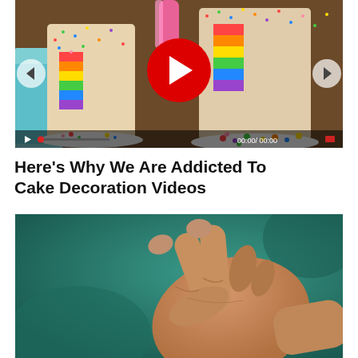[Figure (screenshot): Video thumbnail of colorful sprinkle-covered rainbow layer cakes with a red play button overlay and video controls showing 00:00 / 00:00]
Here's Why We Are Addicted To Cake Decoration Videos
[Figure (photo): Close-up photo of a hand making a two-fingered gesture against a teal/green background]